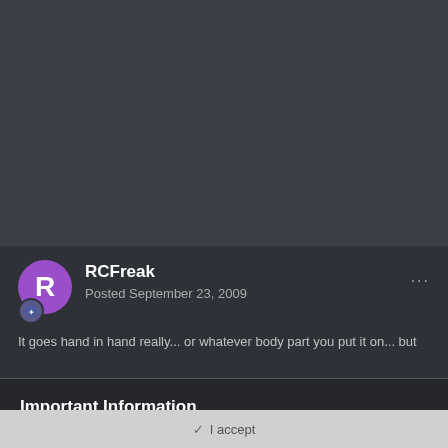[Figure (other): Dark gray background area (top section of forum page)]
RCFreak
Posted September 23, 2009
...
It goes hand in hand really... or whatever body part you put it on... but
Important Information
Terms of Use https://themeparkreview.com/forum/topic/116-terms-of-service-please-read/
✓  I accept